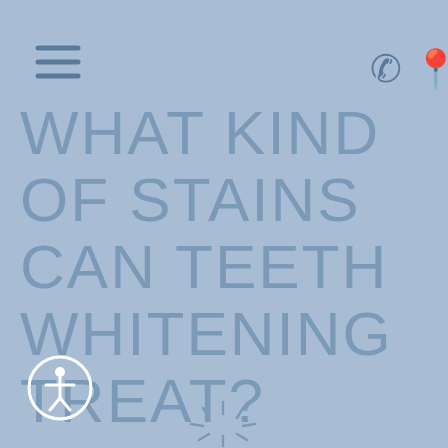[Figure (screenshot): Navigation bar with hamburger menu icon on top-left and phone/location icons on top-right, on a light blue background]
WHAT KIND OF STAINS CAN TEETH WHITENING TREAT?
[Figure (illustration): Accessibility icon (person in circle) at bottom-left]
[Figure (illustration): Loading spinner/sun rays icon at bottom-center]